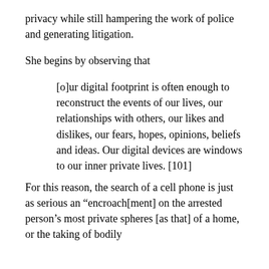privacy while still hampering the work of police and generating litigation.
She begins by observing that
[o]ur digital footprint is often enough to reconstruct the events of our lives, our relationships with others, our likes and dislikes, our fears, hopes, opinions, beliefs and ideas. Our digital devices are windows to our inner private lives. [101]
For this reason, the search of a cell phone is just as serious an “encroach[ment] on the arrested person’s most private spheres [as that] of a home, or the taking of bodily